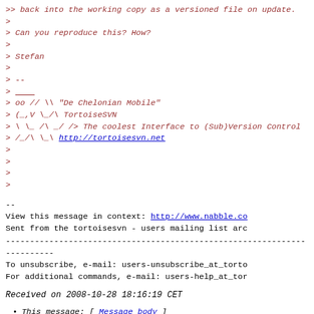>> back into the working copy as a versioned file on update.
>
> Can you reproduce this? How?
>
> Stefan
>
> --
> ____
> oo // \\ "De Chelonian Mobile"
> (_,V \_/\ TortoiseSVN
> \ \_ /\ _/ /> The coolest Interface to (Sub)Version Control
> /_/\ \_\ http://tortoisesvn.net
>
>
>
>
--
View this message in context: http://www.nabble.co
Sent from the tortoisesvn - users mailing list arc
--------------------------------------------------------------------------------
To unsubscribe, e-mail: users-unsubscribe_at_torto
For additional commands, e-mail: users-help_at_tor
Received on 2008-10-28 18:16:19 CET
This message: [ Message body ]
Next message: dolanotoole_at_googlemail.com: "Re: up